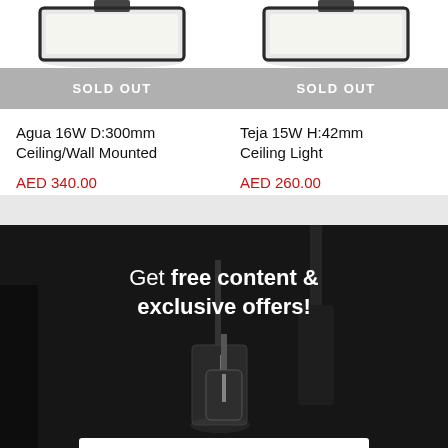[Figure (photo): Product image of Agua 16W ceiling/wall light (cropped, top portion visible) with sold out button]
SOLD OUT
Agua 16W D:300mm Ceiling/Wall Mounted
AED 340.00
[Figure (photo): Product image of Teja 15W ceiling light (cropped, top portion visible) with sold out button]
SOLD OUT
Teja 15W H:42mm Ceiling Light
AED 260.00
[Figure (photo): Dark background banner with pendant lamp photo and email subscription form. Text: Get free content & exclusive offers!]
Get free content & exclusive offers!
Enter your email address